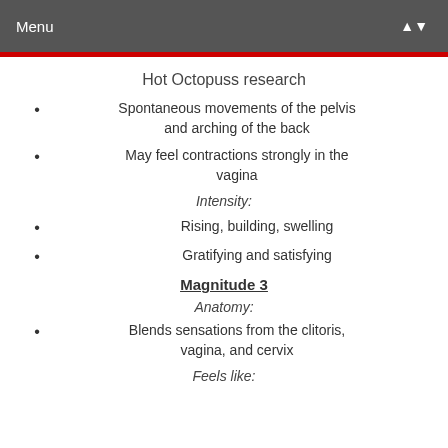Menu
Hot Octopuss research
Spontaneous movements of the pelvis and arching of the back
May feel contractions strongly in the vagina
Intensity:
Rising, building, swelling
Gratifying and satisfying
Magnitude 3
Anatomy:
Blends sensations from the clitoris, vagina, and cervix
Feels like: